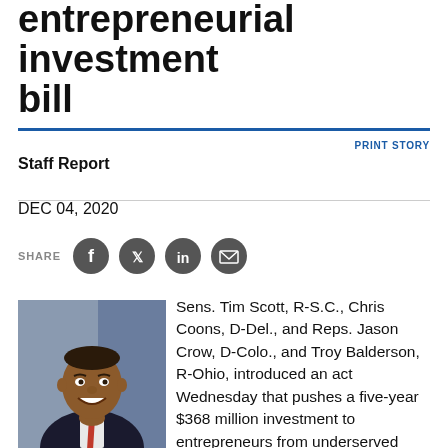entrepreneurial investment bill
PRINT STORY
Staff Report
DEC 04, 2020
SHARE
[Figure (photo): Portrait photo of Senator Tim Scott, a Black man in a dark suit and red tie, smiling, with an American flag in the background]
Scott
Sens. Tim Scott, R-S.C., Chris Coons, D-Del., and Reps. Jason Crow, D-Colo., and Troy Balderson, R-Ohio, introduced an act Wednesday that pushes a five-year $368 million investment to entrepreneurs from underserved communities selected